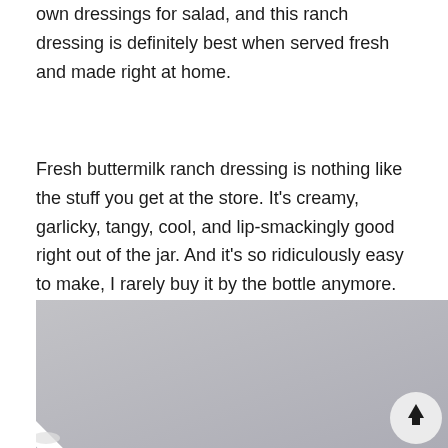own dressings for salad, and this ranch dressing is definitely best when served fresh and made right at home.
Fresh buttermilk ranch dressing is nothing like the stuff you get at the store. It's creamy, garlicky, tangy, cool, and lip-smackingly good right out of the jar. And it's so ridiculously easy to make, I rarely buy it by the bottle anymore.
[Figure (photo): A close-up photo of a whisk or utensil on a light gray/lavender surface, partially cropped. A circular scroll-to-top button with an upward arrow is visible in the lower right corner.]